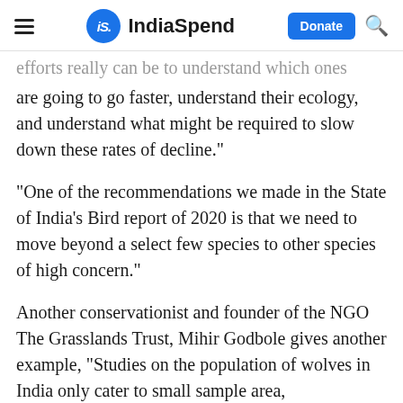iS. IndiaSpend  Donate
efforts really can be to understand which ones are going to go faster, understand their ecology, and understand what might be required to slow down these rates of decline."
"One of the recommendations we made in the State of India's Bird report of 2020 is that we need to move beyond a select few species to other species of high concern."
Another conservationist and founder of the NGO The Grasslands Trust, Mihir Godbole gives another example, "Studies on the population of wolves in India only cater to small sample area,